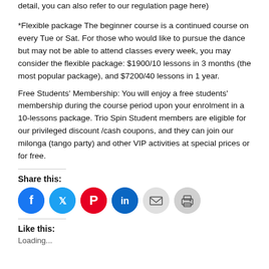detail, you can also refer to our regulation page here)
*Flexible package The beginner course is a continued course on every Tue or Sat. For those who would like to pursue the dance but may not be able to attend classes every week, you may consider the flexible package: $1900/10 lessons in 3 months (the most popular package), and $7200/40 lessons in 1 year.
Free Students' Membership: You will enjoy a free students' membership during the course period upon your enrolment in a 10-lessons package. Trio Spin Student members are eligible for our privileged discount /cash coupons, and they can join our milonga (tango party) and other VIP activities at special prices or for free.
Share this:
[Figure (infographic): Row of six social share icon buttons: Facebook (blue circle), Twitter (blue circle), Pinterest (red circle), LinkedIn (dark blue circle), Email (light gray circle), Print (gray circle)]
Like this:
Loading...